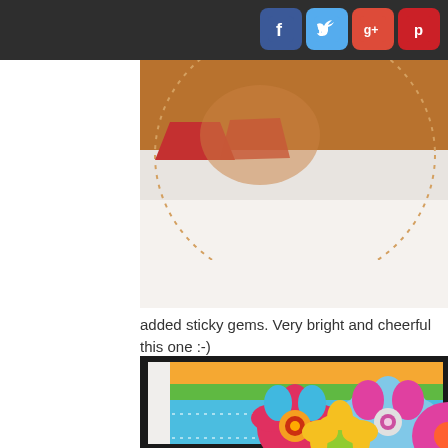Social media icons bar with Facebook, Twitter, Google+, Pinterest
[Figure (photo): Close-up photo of a handmade card or craft with a brown circular element and dotted border on a white background]
added sticky gems. Very bright and cheerful this one :-)
[Figure (photo): Colorful handmade card with bright flower embellishments on blue patterned paper with green and orange layers, featuring layered paper flowers with gems in centers]